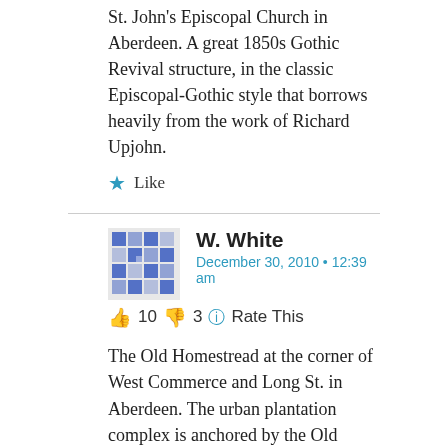St. John's Episcopal Church in Aberdeen. A great 1850s Gothic Revival structure, in the classic Episcopal-Gothic style that borrows heavily from the work of Richard Upjohn.
★ Like
W. White
December 30, 2010 • 12:39 am
👍 10 👎 3 ℹ Rate This
The Old Homestread at the corner of West Commerce and Long St. in Aberdeen. The urban plantation complex is anchored by the Old Homestead mansion (which I believe is also referred to as the Sykes House), a columned Greek Revival house with Gothic and Italianate elements, a blending of styles often found in 1850s southern architecture (the Old Homestead was constructed in 1852). Also, the Old Homestead complex contains what is probably the only Gothic Revival barn in Mississippi. With all due respect to the Red Barn in Rolling Fork, the Old Homestead barn is probably the most architecturally significant barn in Mississippi.